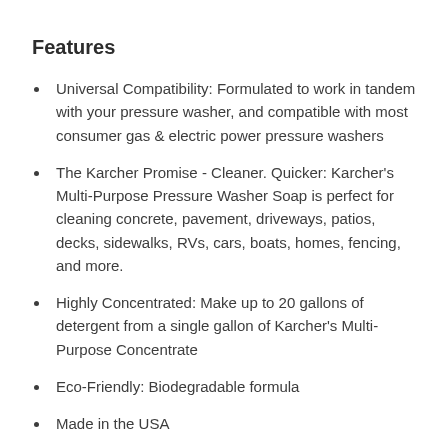Features
Universal Compatibility: Formulated to work in tandem with your pressure washer, and compatible with most consumer gas & electric power pressure washers
The Karcher Promise - Cleaner. Quicker: Karcher's Multi-Purpose Pressure Washer Soap is perfect for cleaning concrete, pavement, driveways, patios, decks, sidewalks, RVs, cars, boats, homes, fencing, and more.
Highly Concentrated: Make up to 20 gallons of detergent from a single gallon of Karcher's Multi-Purpose Concentrate
Eco-Friendly: Biodegradable formula
Made in the USA